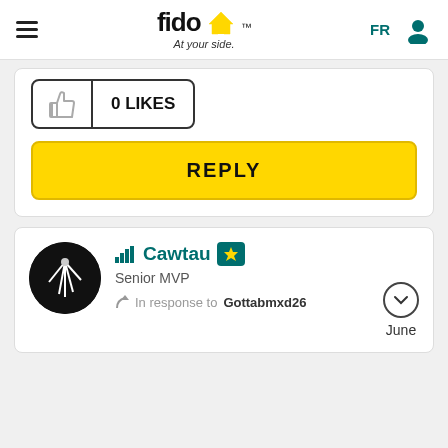fido At your side. | FR | user icon
[Figure (screenshot): 0 LIKES button with thumbs up icon]
REPLY
Cawtau Senior MVP In response to Gottabmxd26 June